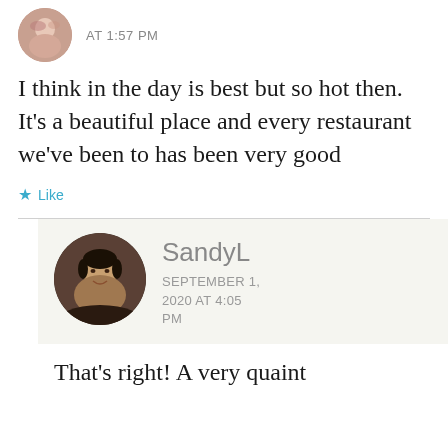[Figure (photo): Circular avatar photo of an older woman, partially cropped at top]
AT 1:57 PM
I think in the day is best but so hot then. It’s a beautiful place and every restaurant we’ve been to has been very good
★ Like
[Figure (photo): Circular avatar photo of an Asian woman with short dark hair, smiling]
SandyL
SEPTEMBER 1, 2020 AT 4:05 PM
That’s right! A very quaint